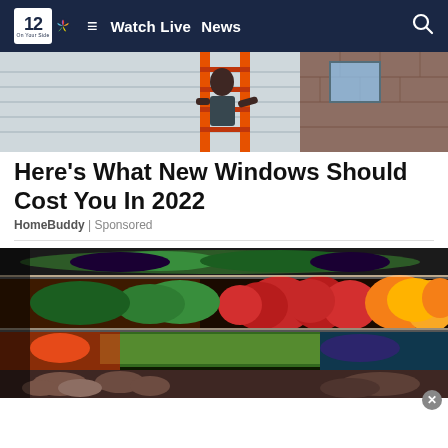NBC 12 — Watch Live  News
[Figure (photo): Person on an orange ladder working on the exterior of a building, seen from below]
Here's What New Windows Should Cost You In 2022
HomeBuddy | Sponsored
[Figure (photo): Colorful grocery store produce section with shelves of vegetables and fruits including red and yellow bell peppers, green beans, potatoes, and other produce]
[Figure (infographic): Advertisement banner: RECEIVE $5 OFF! MENTION THIS AD — Mexico Restaurant ORDER NOW!]